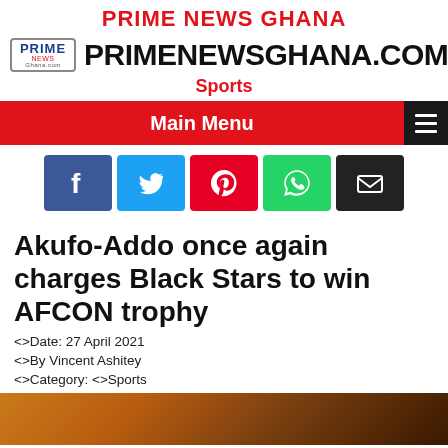PRIME NEWS GHANA
PRIMENEWSGHANA.COM
Sports
Main Menu
Akufo-Addo once again charges Black Stars to win AFCON trophy
<>Date: 27 April 2021
<>By Vincent Ashitey
<>Category: <>Sports
[Figure (photo): Bottom strip showing a dark amber/orange colored image, likely a trophy or sports related photo]